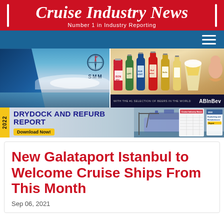Cruise Industry News — Number 1 in Industry Reporting
[Figure (photo): Two advertisement banners side by side: left shows a cruise ship at sea with SMM logo, right shows AB InBev beer brands with bottles]
[Figure (infographic): 2022 Drydock and Refurb Report advertisement banner with Download Now button]
New Galataport Istanbul to Welcome Cruise Ships From This Month
Sep 06, 2021